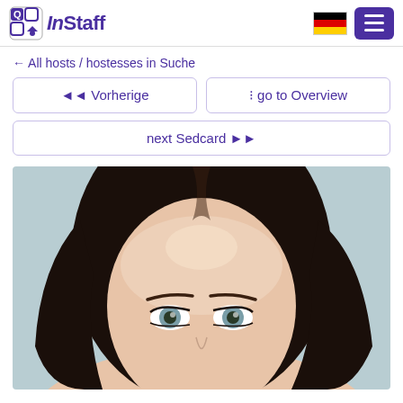InStaff
← All hosts / hostesses in Suche
◄◄ Vorherige
⊞ go to Overview
next Sedcard ▶▶
[Figure (photo): Close-up portrait photo of a young woman with dark hair and light blue/grey eyes, taken against a light grey background]